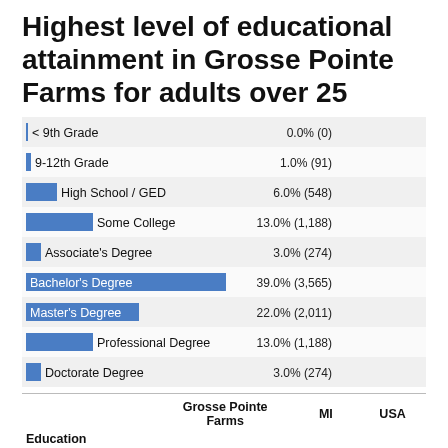Highest level of educational attainment in Grosse Pointe Farms for adults over 25
[Figure (bar-chart): Highest level of educational attainment in Grosse Pointe Farms for adults over 25]
| Education | Grosse Pointe Farms | MI | USA |
| --- | --- | --- | --- |